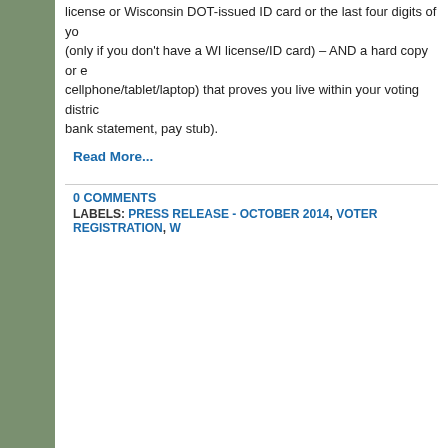license or Wisconsin DOT-issued ID card or the last four digits of yo... (only if you don't have a WI license/ID card) – AND a hard copy or e... cellphone/tablet/laptop) that proves you live within your voting distric... bank statement, pay stub).
Read More...
0 COMMENTS
LABELS: PRESS RELEASE - OCTOBER 2014, VOTER REGISTRATION, W...
No Excuse Now Not to Vote on or Before Novemb...
For Release: Thursday - October 16, 2...
[Figure (photo): Voters at polling booths with American flag voting booth dividers, people filling out ballots]